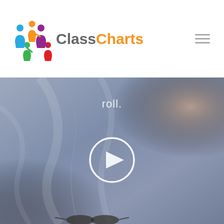[Figure (logo): ClassCharts logo with colorful figures icon and text 'ClassCharts' where 'Class' is grey and 'Charts' is orange]
[Figure (screenshot): Website screenshot showing ClassCharts header with logo on left, hamburger menu icon on right, and a video thumbnail below with a blurred close-up of a person's grey sweater/clothing, with the word 'roll.' in white text and a white play button circle in the center]
roll.